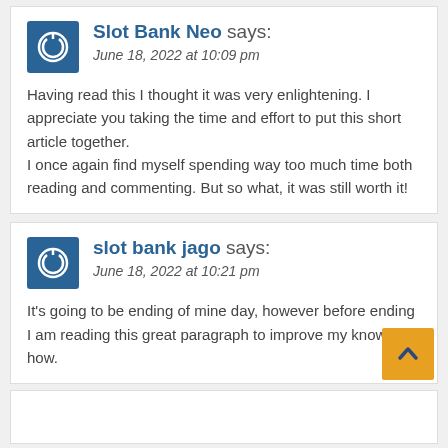Slot Bank Neo says:
June 18, 2022 at 10:09 pm
Having read this I thought it was very enlightening. I appreciate you taking the time and effort to put this short article together.
I once again find myself spending way too much time both reading and commenting. But so what, it was still worth it!
slot bank jago says:
June 18, 2022 at 10:21 pm
It's going to be ending of mine day, however before ending
I am reading this great paragraph to improve my know-how.